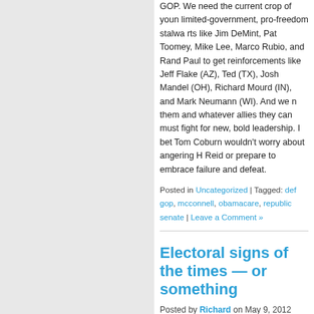GOP. We need the current crop of young limited-government, pro-freedom stalwarts like Jim DeMint, Pat Toomey, Mike Lee, Marco Rubio, and Rand Paul to get reinforcements like Jeff Flake (AZ), Ted (TX), Josh Mandel (OH), Richard Mourd (IN), and Mark Neumann (WI). And we need them and whatever allies they can muster to fight for new, bold leadership. I bet Tom Coburn wouldn't worry about angering Harry Reid or prepare to embrace failure and defeat.
Posted in Uncategorized | Tagged: def, gop, mcconnell, obamacare, republic, senate | Leave a Comment »
Electoral signs of the times — or something
Posted by Richard on May 9, 2012